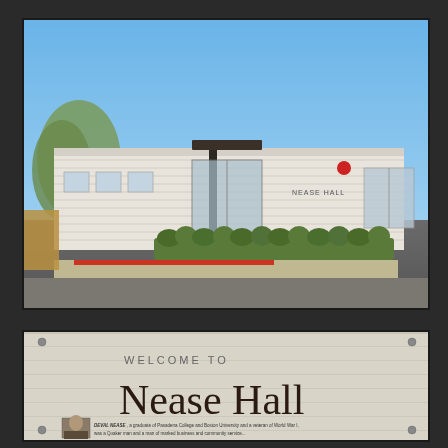[Figure (photo): Exterior photograph of Nease Hall building — a low, single-story mid-century modern structure with white horizontal siding, a dark flat canopy over the entrance, large glass windows, and a red curb in front. Blue sky and trees in the background.]
[Figure (photo): Close-up of a welcome sign reading 'WELCOME TO Nease Hall' with a small portrait photo of Deval Nease and descriptive text: 'DEVAL NEASE, a graduate of Pasadena College and Boston University and a veteran of World War I, was a Quaker man and a man of marked business and community service...']